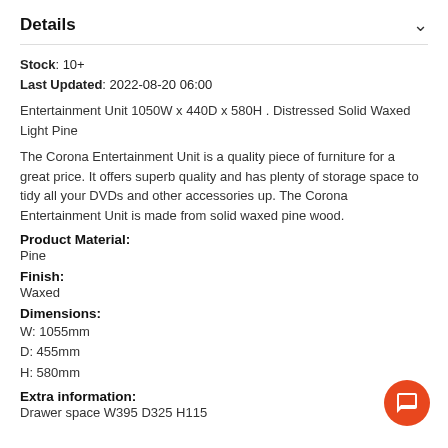Details
Stock: 10+
Last Updated: 2022-08-20 06:00
Entertainment Unit 1050W x 440D x 580H . Distressed Solid Waxed Light Pine
The Corona Entertainment Unit is a quality piece of furniture for a great price. It offers superb quality and has plenty of storage space to tidy all your DVDs and other accessories up. The Corona Entertainment Unit is made from solid waxed pine wood.
Product Material:
Pine
Finish:
Waxed
Dimensions:
W: 1055mm
D: 455mm
H: 580mm
Extra information:
Drawer space W395 D325 H115